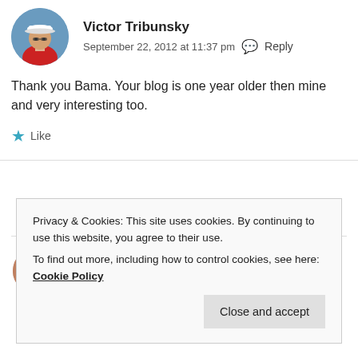[Figure (photo): Circular avatar photo of Victor Tribunsky wearing a white captain's hat and red shirt, outdoors with blue sky background]
Victor Tribunsky
September 22, 2012 at 11:37 pm  Reply
Thank you Bama. Your blog is one year older then mine and very interesting too.
★ Like
[Figure (photo): Small circular avatar photo of a second commenter]
Privacy & Cookies: This site uses cookies. By continuing to use this website, you agree to their use.
To find out more, including how to control cookies, see here: Cookie Policy
Close and accept